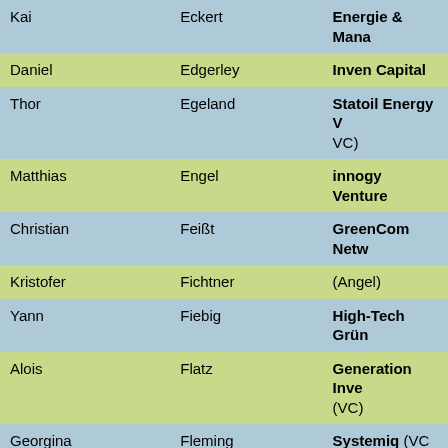| First Name | Last Name | Organization |
| --- | --- | --- |
| Kai | Eckert | Energie & Mana... |
| Daniel | Edgerley | Inven Capital |
| Thor | Egeland | Statoil Energy V... VC) |
| Matthias | Engel | innogy Venture... |
| Christian | Feißt | GreenCom Netw... |
| Kristofer | Fichtner | (Angel) |
| Yann | Fiebig | High-Tech Grüm... |
| Alois | Flatz | Generation Inve... (VC) |
| Georgina | Fleming | Systemiq  (VC... |
| Joao | Fonseca | Ecosummit Am... |
| Carlos | Garcia Buitron | Ecovatios  (Sta... |
| Florence | Gautier | Veolia  (Corpo... |
| Lars | Gehlen | Abacus alpha |
| Thomas | Goette | Greenpocket  (... |
| Frédéric | Goettmann | Extracthive  (S... |
| Thomas | Gottschalk | Mobisol  (Star... |
| Mathieu | Grimbert | Total Venture... |